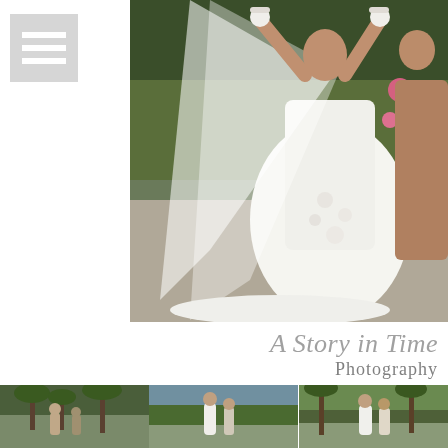[Figure (photo): Hamburger/menu icon with three white horizontal lines on a semi-transparent gray background, positioned top-left]
[Figure (photo): Wedding photograph showing two women, one in a white wedding dress with floral appliqués, tulle veil held aloft, standing outdoors in front of green foliage and pink flowers]
A Story in Time Photography
[Figure (photo): Three small thumbnail photos of outdoor wedding scenes along the bottom of the page]